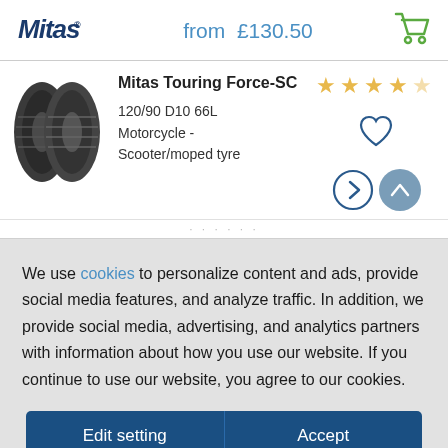[Figure (logo): Mitas brand logo in dark blue italic font]
from £130.50
[Figure (illustration): Green shopping cart icon]
[Figure (photo): Two Mitas touring motorcycle tires viewed from the front]
Mitas Touring Force-SC
[Figure (illustration): 4 filled gold stars and 1 half gold star rating]
[Figure (illustration): Heart outline icon for wishlist]
120/90 D10 66L Motorcycle - Scooter/moped tyre
[Figure (illustration): Right arrow circle button (navigate) and up arrow filled circle button]
We use cookies to personalize content and ads, provide social media features, and analyze traffic. In addition, we provide social media, advertising, and analytics partners with information about how you use our website. If you continue to use our website, you agree to our cookies.
Edit setting
Accept